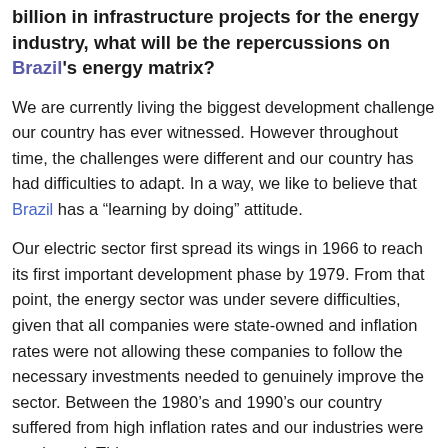billion in infrastructure projects for the energy industry, what will be the repercussions on Brazil's energy matrix?
We are currently living the biggest development challenge our country has ever witnessed. However throughout time, the challenges were different and our country has had difficulties to adapt. In a way, we like to believe that Brazil has a "learning by doing" attitude.
Our electric sector first spread its wings in 1966 to reach its first important development phase by 1979. From that point, the energy sector was under severe difficulties, given that all companies were state-owned and inflation rates were not allowing these companies to follow the necessary investments needed to genuinely improve the sector. Between the 1980's and 1990's our country suffered from high inflation rates and our industries were weakened. This